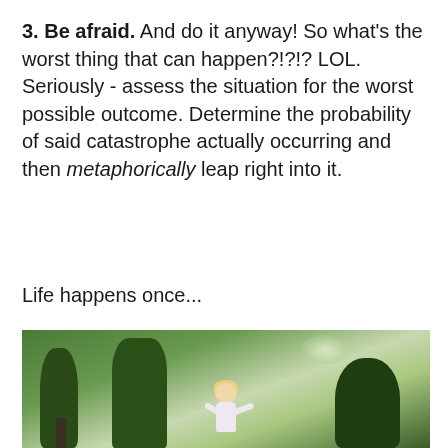3. Be afraid.  And do it anyway! So what's the worst thing that can happen?!?!?  LOL. Seriously - assess the situation for the worst possible outcome.  Determine the probability of said catastrophe actually occurring and then metaphorically leap right into it.
Life happens once...
[Figure (photo): Outdoor photo of an older woman with short blonde hair, arms outstretched, looking up joyfully, surrounded by tall evergreen trees and lush green foliage in the background.]